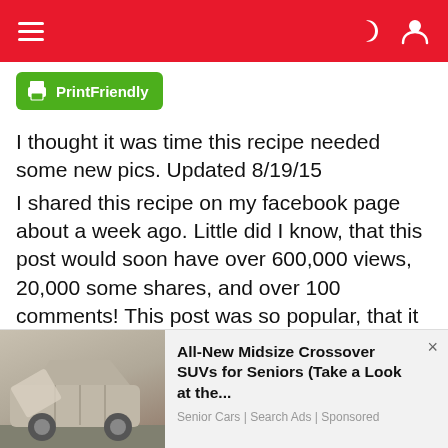Navigation bar with hamburger menu and icons
[Figure (screenshot): PrintFriendly green button with printer icon]
I thought it was time this recipe needed some new pics. Updated 8/19/15
I shared this recipe on my facebook page about a week ago. Little did I know, that this post would soon have over 600,000 views, 20,000 some shares, and over 100 comments! This post was so popular, that it has gained me 500 new fans in less than 5 days.

Yes, all you readers and facebook page owners out there, it is possible to get new likes and fans without
[Figure (screenshot): Advertisement: All-New Midsize Crossover SUVs for Seniors (Take a Look at the... — Senior Cars | Search Ads | Sponsored, with car image on left]